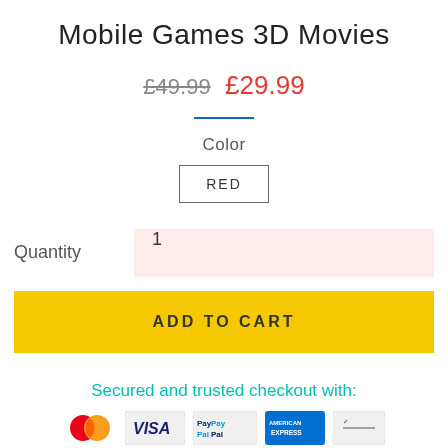Mobile Games 3D Movies
£49.99  £29.99
Color
RED
Quantity  1
ADD TO CART
Secured and trusted checkout with:
[Figure (logo): Payment icons: MasterCard, VISA, PayPal, American Express, and one more payment method]